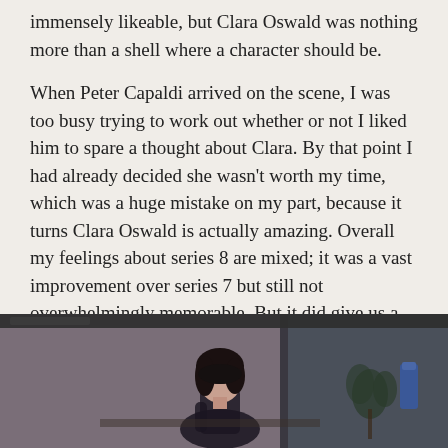immensely likeable, but Clara Oswald was nothing more than a shell where a character should be.
When Peter Capaldi arrived on the scene, I was too busy trying to work out whether or not I liked him to spare a thought about Clara. By that point I had already decided she wasn't worth my time, which was a huge mistake on my part, because it turns Clara Oswald is actually amazing. Overall my feelings about series 8 are mixed; it was a vast improvement over series 7 but still not overwhelmingly memorable. But it did give us a chance to finally get to know Clara Oswald, and that was brilliant.
[Figure (photo): A dark scene showing a woman with dark hair sitting, likely from a Doctor Who episode, with a plant and door visible in the background. A blue scroll-to-top button overlay is visible in the bottom right corner.]